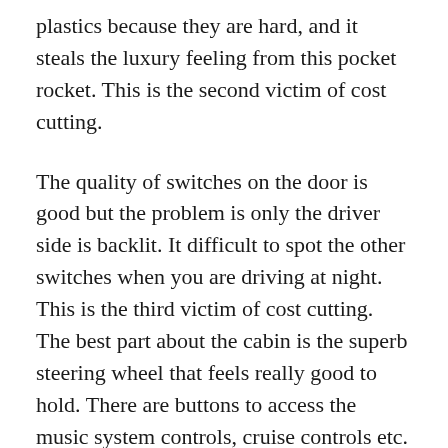plastics because they are hard, and it steals the luxury feeling from this pocket rocket. This is the second victim of cost cutting.
The quality of switches on the door is good but the problem is only the driver side is backlit. It difficult to spot the other switches when you are driving at night. This is the third victim of cost cutting. The best part about the cabin is the superb steering wheel that feels really good to hold. There are buttons to access the music system controls, cruise controls etc. What makes it special is the paddle shifters on offer. Unfortunately, the steering is adjustable for tilt and not for reach. Thankfully, the speedometer is designed in a beautiful way, just that the tachometer is